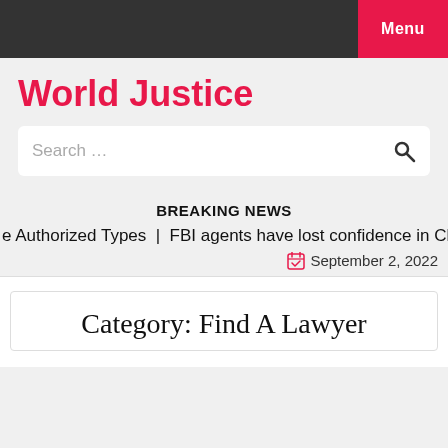Menu
World Justice
Search …
BREAKING NEWS
e Authorized Types  |  FBI agents have lost confidence in Ch
September 2, 2022
Category: Find A Lawyer